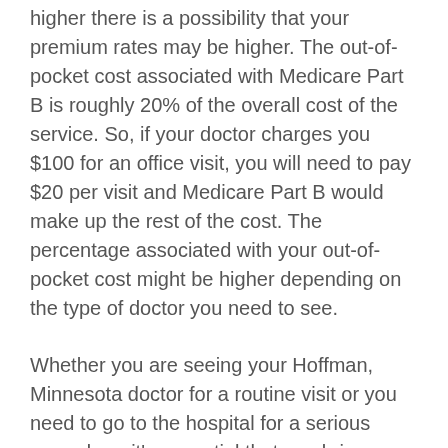higher there is a possibility that your premium rates may be higher. The out-of-pocket cost associated with Medicare Part B is roughly 20% of the overall cost of the service. So, if your doctor charges you $100 for an office visit, you will need to pay $20 per visit and Medicare Part B would make up the rest of the cost. The percentage associated with your out-of-pocket cost might be higher depending on the type of doctor you need to see.
Whether you are seeing your Hoffman, Minnesota doctor for a routine visit or you need to go to the hospital for a serious procedure, it's essential that you bring your Medicare ID card with you. When you first enroll in Medicare you will receive a unique identification card that lists your name as well as your Medicare ID number.